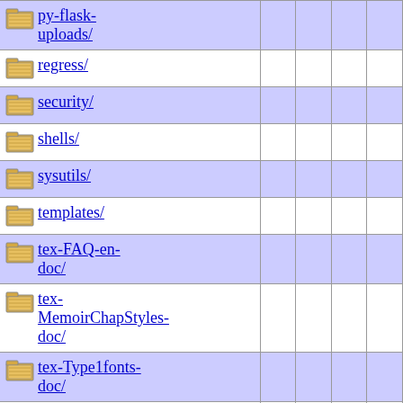| Name |  |  |  |  |
| --- | --- | --- | --- | --- |
| py-flask-uploads/ |  |  |  |  |
| regress/ |  |  |  |  |
| security/ |  |  |  |  |
| shells/ |  |  |  |  |
| sysutils/ |  |  |  |  |
| templates/ |  |  |  |  |
| tex-FAQ-en-doc/ |  |  |  |  |
| tex-MemoirChapStyles-doc/ |  |  |  |  |
| tex-Type1fonts-doc/ |  |  |  |  |
| tex-amslatex-primer-doc/ |  |  |  |  |
| tex-around-the-bend-doc/ |  |  |  |  |